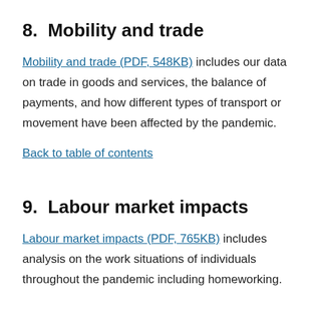8.  Mobility and trade
Mobility and trade (PDF, 548KB) includes our data on trade in goods and services, the balance of payments, and how different types of transport or movement have been affected by the pandemic.
Back to table of contents
9.  Labour market impacts
Labour market impacts (PDF, 765KB) includes analysis on the work situations of individuals throughout the pandemic including homeworking.